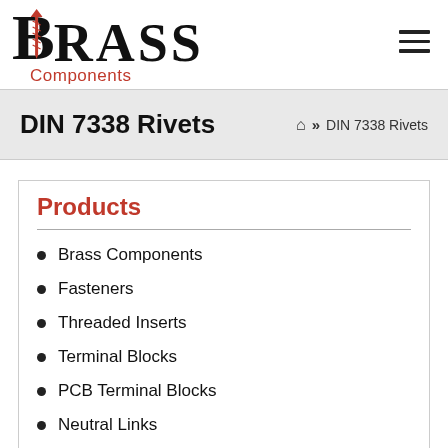Brass Components — logo and navigation header
DIN 7338 Rivets
Home » DIN 7338 Rivets
Products
Brass Components
Fasteners
Threaded Inserts
Terminal Blocks
PCB Terminal Blocks
Neutral Links